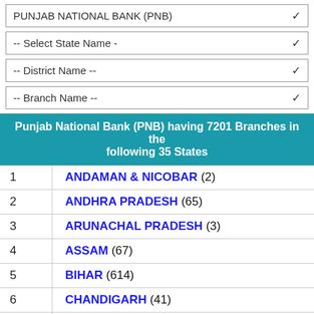PUNJAB NATIONAL BANK (PNB)
-- Select State Name -
-- District Name --
-- Branch Name --
Punjab National Bank (PNB) having 7201 Branches in the following 35 States
| # | State |
| --- | --- |
| 1 | ANDAMAN & NICOBAR (2) |
| 2 | ANDHRA PRADESH (65) |
| 3 | ARUNACHAL PRADESH (3) |
| 4 | ASSAM (67) |
| 5 | BIHAR (614) |
| 6 | CHANDIGARH (41) |
| 7 | CHHATTISGARH (133) |
| 8 | DADRA & NAGAR HAVELI (1) |
| 9 | DAMAN & DIU (1) |
| 10 | DELHI (281) |
| 11 | GOA (8) |
| 12 | GUJARAT (202) |